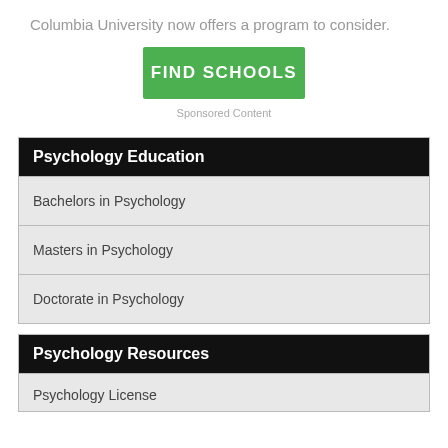Columbia University now offers a program to consider.
[Figure (other): Green FIND SCHOOLS button]
Sponsored Content
Psychology Education
Bachelors in Psychology
Masters in Psychology
Doctorate in Psychology
Psychology Resources
Psychology License